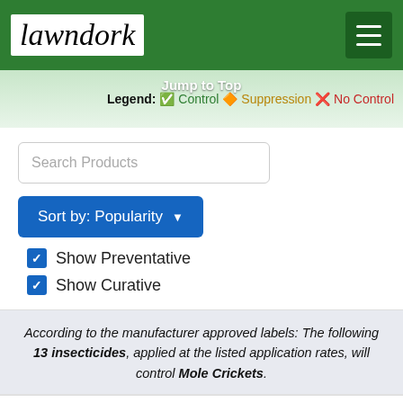lawndork
Jump to Top
Legend: ✅ Control 🔶 Suppression ❌ No Control
Search Products
Sort by: Popularity
Show Preventative
Show Curative
According to the manufacturer approved labels: The following 13 insecticides, applied at the listed application rates, will control Mole Crickets.
Scotts SummerGuard Lawn Food